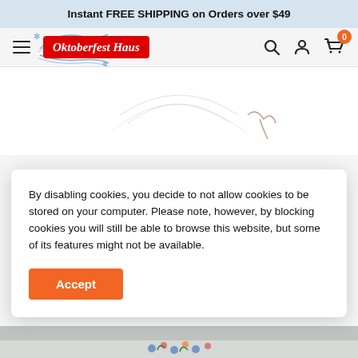Instant FREE SHIPPING on Orders over $49
[Figure (screenshot): Oktoberfest Haus navigation bar with hamburger menu, logo, search, account, and cart icons]
[Figure (photo): Top portion of a gray felt Bavarian hat product image]
By disabling cookies, you decide to not allow cookies to be stored on your computer.  Please note, however, by blocking cookies you will still be able to browse this website, but some of its features might not be available.
[Figure (photo): Bottom strip of the felt hat with floral decoration]